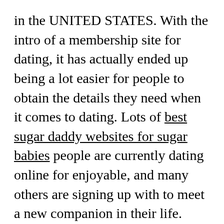in the UNITED STATES. With the intro of a membership site for dating, it has actually ended up being a lot easier for people to obtain the details they need when it comes to dating. Lots of best sugar daddy websites for sugar babies people are currently dating online for enjoyable, and many others are signing up with to meet a new companion in their life.
Sugar Daddy Dating Expense permits you to get involved in the subscription procedure with just a few mins of your time. This is a very easy as well as inexpensive method for anyone to begin in the world of on-line